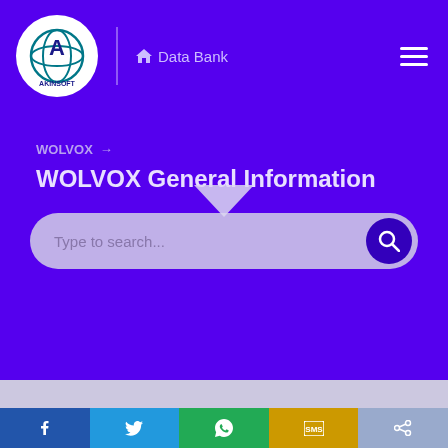[Figure (logo): AKINSOFT logo — white circle with blue/teal globe and stylized A letter, text AKINSOFT below]
🏠 Data Bank
WOLVOX →
WOLVOX General Information
[Figure (screenshot): Search bar with placeholder text 'Type to search...' and a purple search button with magnifying glass icon; a downward pointing triangle/dropdown arrow above the search bar]
f  🐦  💬  SMS  share